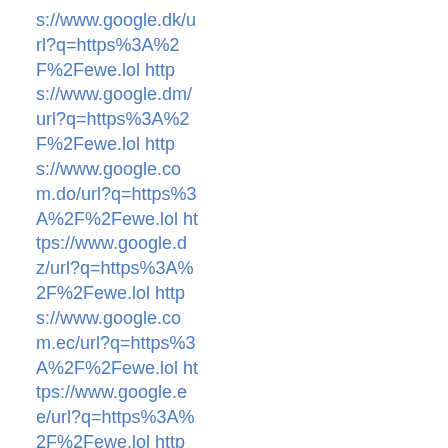s://www.google.dk/url?q=https%3A%2F%2Fewe.lol https://www.google.dm/url?q=https%3A%2F%2Fewe.lol https://www.google.com.do/url?q=https%3A%2F%2Fewe.lol https://www.google.dz/url?q=https%3A%2F%2Fewe.lol https://www.google.com.ec/url?q=https%3A%2F%2Fewe.lol https://www.google.ee/url?q=https%3A%2F%2Fewe.lol https://www.google.com.eg/url?q=https%3A%2F%2Fewe.lol https://www.google.es/url?q=https%3A%2F%2Fewe.lol https://www.google.com.et/url?q=https%3A%2F%2Fewe.lol https://www.google.fi/url?q=https%3A%2F%2Fewe.lol http